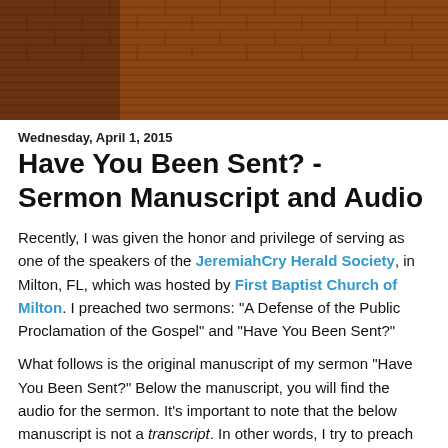[Figure (logo): Cross Encounters with Tony Miano banner. Features a circular logo on the left with a cross and the text 'Cross Encounters' around the edge, set against a brick wall background. Text reads 'Cross Encounters with Tony Miano' in tan/cream colored text.]
Wednesday, April 1, 2015
Have You Been Sent? - Sermon Manuscript and Audio
Recently, I was given the honor and privilege of serving as one of the speakers of the JeremiahCry Herald Society, in Milton, FL, which was hosted by First Baptist Church of Milton. I preached two sermons: "A Defense of the Public Proclamation of the Gospel" and "Have You Been Sent?"
What follows is the original manuscript of my sermon "Have You Been Sent?" Below the manuscript, you will find the audio for the sermon. It's important to note that the below manuscript is not a transcript. In other words, I try to preach from the heart, not the book, but close adherence to what I